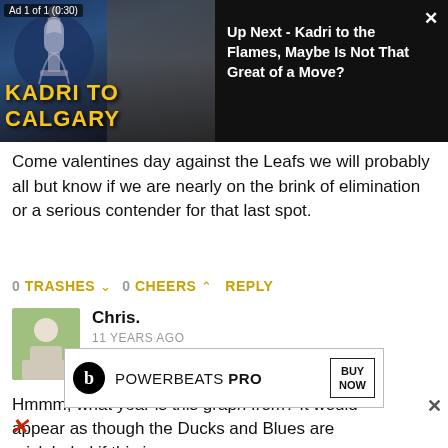[Figure (screenshot): Video thumbnail showing hockey player with trophy and sports anchor, with 'KADRI TO CALGARY' text overlay. Ad 1 of 1 (0:30) label. Up Next video panel on right.]
Up Next - Kadri to the Flames, Maybe Is Not That Great of a Move?
Come valentines day against the Leafs we will probably all but know if we are nearly on the brink of elimination or a serious contender for that last spot.
0 TRASHES ↓  0 CHEERS ↑  REPLY
[Figure (photo): Avatar photo of commenter Chris - person standing outdoors]
Chris.
11 YEARS AGO
Hmmm, what year is this graph from? It would appear as though the Ducks and Blues are mislabeled if this is
[Figure (screenshot): Powerbeats Pro advertisement banner with Buy Now button]